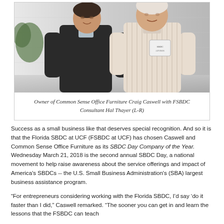[Figure (photo): Two men standing together smiling. The man on the left wears a dark suit jacket with a light shirt. The man on the right wears a light pink/white striped shirt with a name badge. They are standing in front of a textured wall backdrop.]
Owner of Common Sense Office Furniture Craig Caswell with FSBDC Consultant Hal Thayer (L-R)
Success as a small business like that deserves special recognition. And so it is that the Florida SBDC at UCF (FSBDC at UCF) has chosen Caswell and Common Sense Office Furniture as its SBDC Day Company of the Year. Wednesday March 21, 2018 is the second annual SBDC Day, a national movement to help raise awareness about the service offerings and impact of America's SBDCs -- the U.S. Small Business Administration's (SBA) largest business assistance program.
“For entrepreneurs considering working with the Florida SBDC, I’d say ‘do it faster than I did,” Caswell remarked. “The sooner you can get in and learn the lessons that the FSBDC can teach